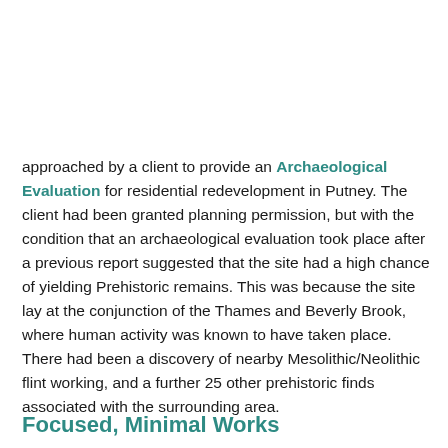approached by a client to provide an Archaeological Evaluation for residential redevelopment in Putney. The client had been granted planning permission, but with the condition that an archaeological evaluation took place after a previous report suggested that the site had a high chance of yielding Prehistoric remains. This was because the site lay at the conjunction of the Thames and Beverly Brook, where human activity was known to have taken place. There had been a discovery of nearby Mesolithic/Neolithic flint working, and a further 25 other prehistoric finds associated with the surrounding area.
Focused, Minimal Works